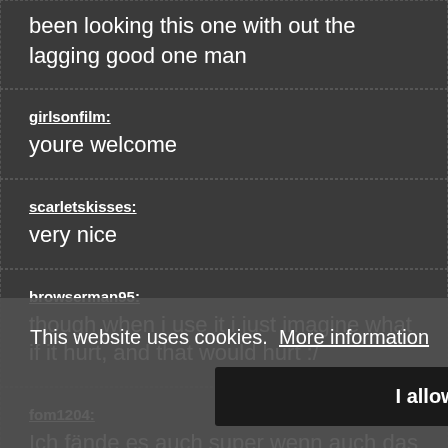been looking this one with out the lagging good one man
girlsonfilm:
youre welcome
scarletskisses:
very nice
browserman95:
though when i use it i just imagine what if it hurt, and that would hurt :/
fom1204:
Ich fände es auch super wenn auch das abgebundene outer gequält wird, am
This website uses cookies. More information
I allow it